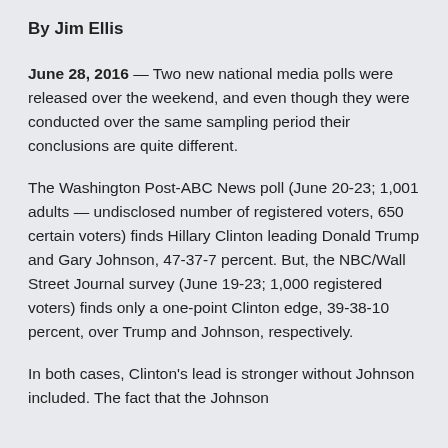By Jim Ellis
June 28, 2016 — Two new national media polls were released over the weekend, and even though they were conducted over the same sampling period their conclusions are quite different.
The Washington Post-ABC News poll (June 20-23; 1,001 adults — undisclosed number of registered voters, 650 certain voters) finds Hillary Clinton leading Donald Trump and Gary Johnson, 47-37-7 percent. But, the NBC/Wall Street Journal survey (June 19-23; 1,000 registered voters) finds only a one-point Clinton edge, 39-38-10 percent, over Trump and Johnson, respectively.
In both cases, Clinton's lead is stronger without Johnson included. The fact that the Johnson